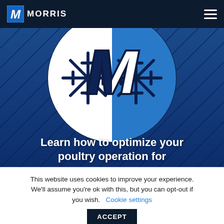MORRIS
[Figure (logo): Morris company logo with M letter and snowflake design in a blue circle against a dark blue industrial background hero image]
Learn how to optimize your poultry operation for
This website uses cookies to improve your experience. We'll assume you're ok with this, but you can opt-out if you wish. Cookie settings ACCEPT